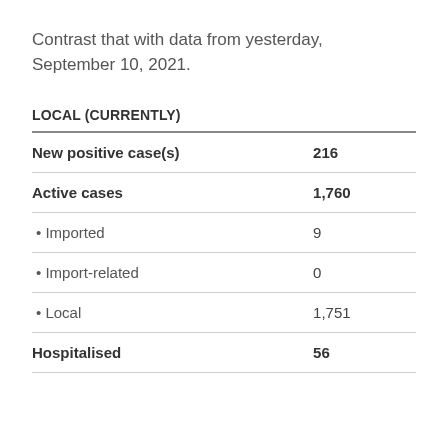Contrast that with data from yesterday, September 10, 2021.
| LOCAL (CURRENTLY) |  |
| --- | --- |
| New positive case(s) | 216 |
| Active cases | 1,760 |
| • Imported | 9 |
| • Import-related | 0 |
| • Local | 1,751 |
| Hospitalised | 56 |